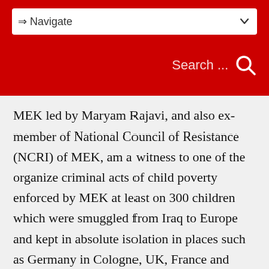⇒ Navigate | Search ...
MEK led by Maryam Rajavi, and also ex-member of National Council of Resistance (NCRI) of MEK, am a witness to one of the organize criminal acts of child poverty enforced by MEK at least on 300 children which were smuggled from Iraq to Europe and kept in absolute isolation in places such as Germany in Cologne, UK, France and Holland,...Which was discovered by FBI. The MEK not only force separated children from their parents but deprived these children from all their rights. MEK received social benefit for these children and used it for his terrorist goals in Iraq and elsewhere even 7 years after MEK returned them by force back to Iraq and used them as Child Soldiers, Iraqi terrorist, etc...